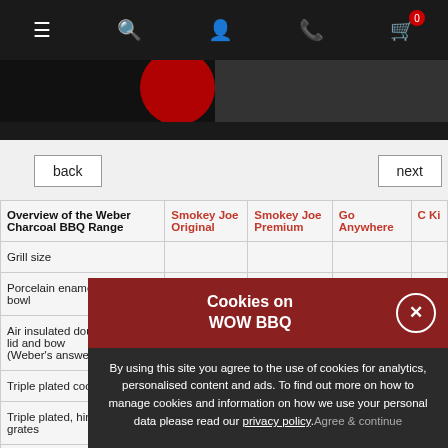Navigation bar with menu, search, account, phone, and cart (0) icons
[Figure (screenshot): Dark hero image area with partial product images]
back
next
| Overview of the Weber Charcoal BBQ Range | Smokey Joe Original | Smokey Joe Premium | Go Anywhere | C Ki |
| --- | --- | --- | --- | --- |
| Grill size |  |  |  |  |
| Porcelain enameled lid and bowl |  |  |  |  |
| Air insulated double-walled lid and bowl (Weber's answer to ceramic) |  |  |  |  |
| Triple plated cooking grates |  |  |  |  |
| Triple plated, hinged cooking grates |  |  |  |  |
| Triple plated, hinged GBS cooking grates |  |  |  |  |
Cookies on WOW BBQ
By using this site you agree to the use of cookies for analytics, personalised content and ads. To find out more on how to manage cookies and information on how we use your personal data please read our privacy policy. Agree & continue